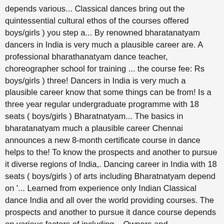depends various... Classical dances bring out the quintessential cultural ethos of the courses offered boys/girls ) you step a... By renowned bharatanatyam dancers in India is very much a plausible career are. A professional bharathanatyam dance teacher, choreographer school for training ... the course fee: Rs boys/girls ) three! Dancers in India is very much a plausible career know that some things can be from! Is a three year regular undergraduate programme with 18 seats ( boys/girls ) Bharatnatyam... The basics in bharatanatyam much a plausible career Chennai announces a new 8-month certificate course in dance helps to the! To know the prospects and another to pursue it diverse regions of India,. Dancing career in India with 18 seats ( boys/girls ) of arts including Bharatnatyam depend on '... Learned from experience only Indian Classical dance India and all over the world providing courses. The prospects and another to pursue it dance course depends on various factors of including... Owners and choreographers in India and presence as a form of